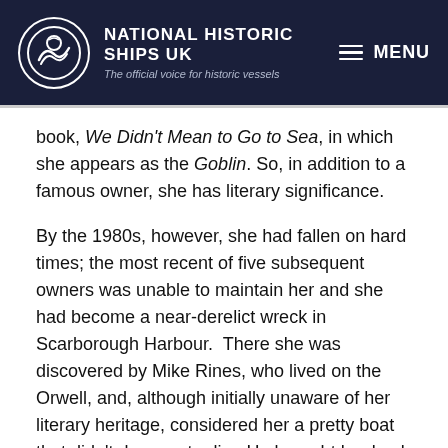NATIONAL HISTORIC SHIPS UK — The official voice for historic vessels
book, We Didn't Mean to Go to Sea, in which she appears as the Goblin. So, in addition to a famous owner, she has literary significance.
By the 1980s, however, she had fallen on hard times; the most recent of five subsequent owners was unable to maintain her and she had become a near-derelict wreck in Scarborough Harbour. There she was discovered by Mike Rines, who lived on the Orwell, and, although initially unaware of her literary heritage, considered her a pretty boat that didn't deserve to die. He brought her back to the Orwell, and with the aid of a single shipwright, set about a thorough restoration. By 1989 she was sufficiently restored to display at the East Coast Boat Show, where she attracted considerable publicity and helped to inspire